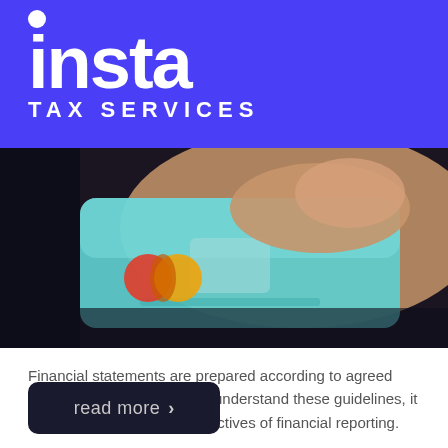[Figure (logo): Insta Tax Services logo — white circle dot above white bold lowercase 'insta' text, with 'TAX SERVICES' in white spaced capitals below, all on a blue/purple background]
[Figure (photo): Close-up photo of a hand holding a teal/blue credit card (Mastercard logo visible) against a blurred dark background]
Financial statements are prepared according to agreed upon guidelines. In order to understand these guidelines, it helps to understand the objectives of financial reporting.
read more >